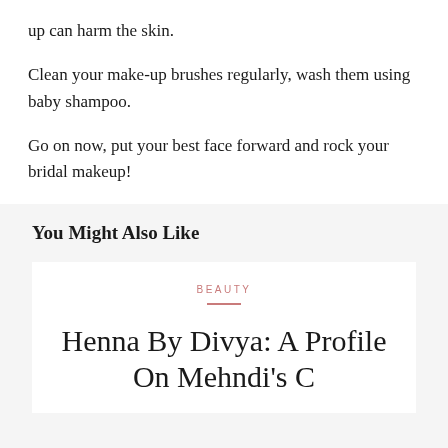up can harm the skin.
Clean your make-up brushes regularly, wash them using baby shampoo.
Go on now, put your best face forward and rock your bridal makeup!
You Might Also Like
BEAUTY
Henna By Divya: A Profile On Mehndi's C…